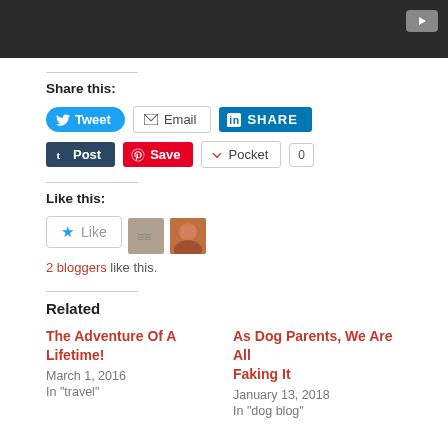[Figure (screenshot): Dark video bar with play button in top right]
Share this:
[Figure (screenshot): Social share buttons: Tweet, Email, LinkedIn Share, Tumblr Post, Pinterest Save, Pocket with count 0]
Like this:
[Figure (screenshot): Like button with star icon and two liker avatars]
2 bloggers like this.
Related
The Adventure Of A Lifetime!
March 1, 2016
In "travel"
As Dog Parents, We Are All Faking It
January 13, 2018
In "dog blog"